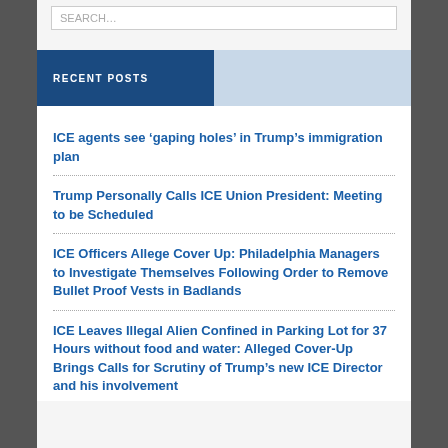RECENT POSTS
ICE agents see ‘gaping holes’ in Trump’s immigration plan
Trump Personally Calls ICE Union President: Meeting to be Scheduled
ICE Officers Allege Cover Up: Philadelphia Managers to Investigate Themselves Following Order to Remove Bullet Proof Vests in Badlands
ICE Leaves Illegal Alien Confined in Parking Lot for 37 Hours without food and water: Alleged Cover-Up Brings Calls for Scrutiny of Trump’s new ICE Director and his involvement